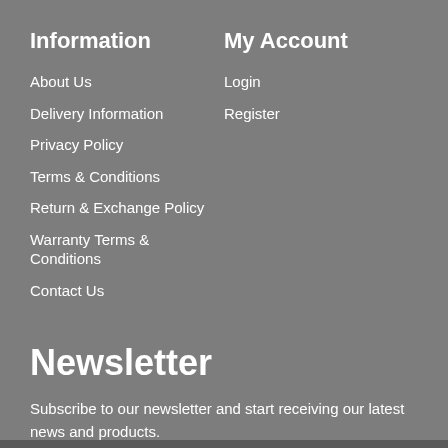Information
About Us
Delivery Information
Privacy Policy
Terms & Conditions
Return & Exchange Policy
Warranty Terms & Conditions
Contact Us
My Account
Login
Register
Newsletter
Subscribe to our newsletter and start receiving our latest news and products.
Enter Your Email Address
SUBSCRIBE